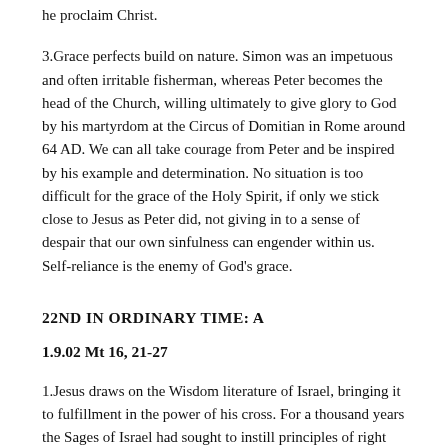he proclaim Christ.
3.Grace perfects build on nature. Simon was an impetuous and often irritable fisherman, whereas Peter becomes the head of the Church, willing ultimately to give glory to God by his martyrdom at the Circus of Domitian in Rome around 64 AD. We can all take courage from Peter and be inspired by his example and determination. No situation is too difficult for the grace of the Holy Spirit, if only we stick close to Jesus as Peter did, not giving in to a sense of despair that our own sinfulness can engender within us. Self-reliance is the enemy of God's grace.
22ND IN ORDINARY TIME: A
1.9.02 Mt 16, 21-27
1.Jesus draws on the Wisdom literature of Israel, bringing it to fulfillment in the power of his cross. For a thousand years the Sages of Israel had sought to instill principles of right conduct in every day living. For the man who leads astray there is no excuse: " Will you object, 'But look, we did not know'? Has he who weighs the heart no understanding, he who scans your soul no knowledge? He himself will repay a man as his deeds